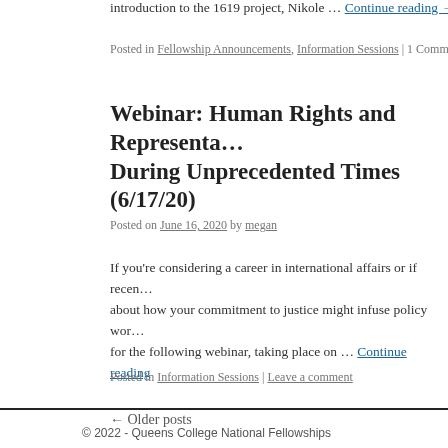introduction to the 1619 project, Nikole … Continue reading →
Posted in Fellowship Announcements, Information Sessions | 1 Comment
Webinar: Human Rights and Representation During Unprecedented Times (6/17/20)
Posted on June 16, 2020 by megan
If you're considering a career in international affairs or if recen… about how your commitment to justice might infuse policy wor… for the following webinar, taking place on … Continue reading
Posted in Information Sessions | Leave a comment
← Older posts
© 2022 - Queens College National Fellowships